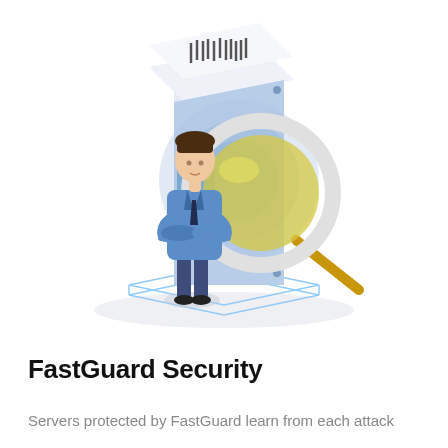[Figure (illustration): Isometric illustration of a server/safe unit with a large magnifying glass with yellow lens overlay, and a man in a blue suit with arms crossed standing in front of the server. Blue geometric platform base beneath. White/light blue color scheme.]
FastGuard Security
Servers protected by FastGuard learn from each attack